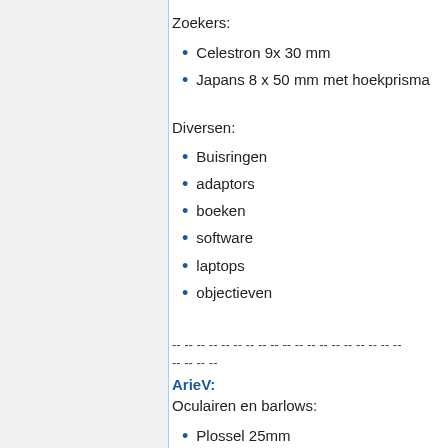Zoekers:
Celestron 9x 30 mm
Japans 8 x 50 mm met hoekprisma
Diversen:
Buisringen
adaptors
boeken
software
laptops
objectieven
-- -- -- -- -- -- -- -- -- -- -- -- -- -- -- -- -- -- --
-- -- -- --
ArieV:
Oculairen en barlows:
Plossel 25mm
Plossel 12 mm